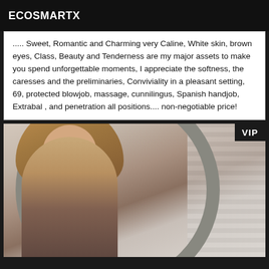ECOSMARTX
..... Sweet, Romantic and Charming very Caline, White skin, brown eyes, Class, Beauty and Tenderness are my major assets to make you spend unforgettable moments, I appreciate the softness, the caresses and the preliminaries, Conviviality in a pleasant setting, 69, protected blowjob, massage, cunnilingus, Spanish handjob, Extrabal , and penetration all positions.... non-negotiable price!
[Figure (photo): A woman with blonde hair taking a mirror selfie in what appears to be a hotel or apartment room. A VIP badge is shown in the top right corner of the photo.]